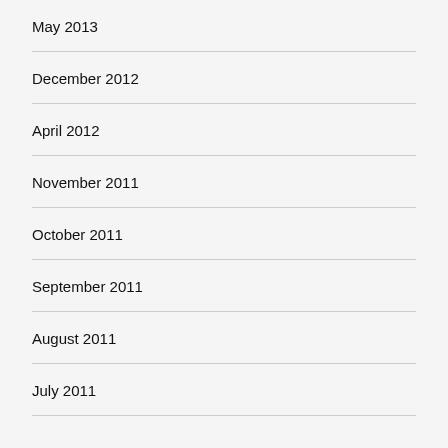May 2013
December 2012
April 2012
November 2011
October 2011
September 2011
August 2011
July 2011